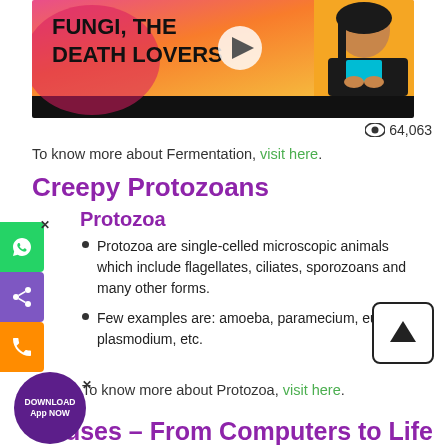[Figure (screenshot): Video thumbnail with orange/pink gradient background showing text 'FUNGI, THE DEATH LOVERS' in bold black with a female presenter and play button]
64,063
To know more about Fermentation, visit here.
Creepy Protozoans
Protozoa
Protozoa are single-celled microscopic animals which include flagellates, ciliates, sporozoans and many other forms.
Few examples are: amoeba, paramecium, euglena, plasmodium, etc.
To know more about Protozoa, visit here.
Viruses – From Computers to Life